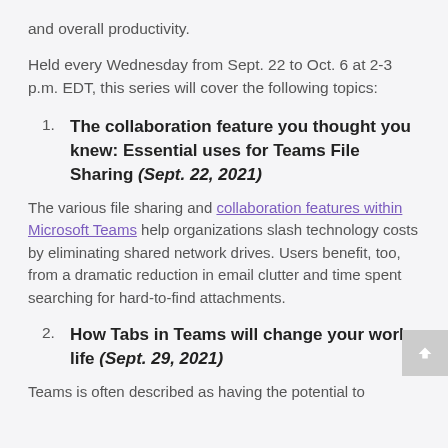and overall productivity.
Held every Wednesday from Sept. 22 to Oct. 6 at 2-3 p.m. EDT, this series will cover the following topics:
The collaboration feature you thought you knew: Essential uses for Teams File Sharing (Sept. 22, 2021)
The various file sharing and collaboration features within Microsoft Teams help organizations slash technology costs by eliminating shared network drives. Users benefit, too, from a dramatic reduction in email clutter and time spent searching for hard-to-find attachments.
How Tabs in Teams will change your work life (Sept. 29, 2021)
Teams is often described as having the potential to